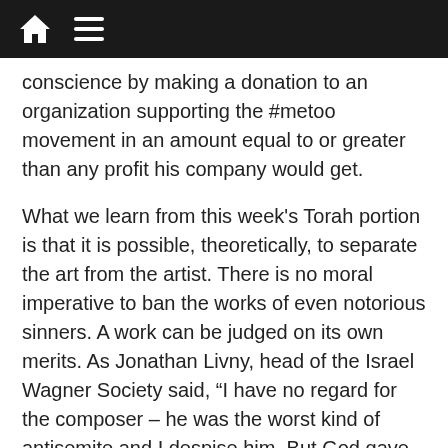conscience by making a donation to an organization supporting the #metoo movement in an amount equal to or greater than any profit his company would get.
What we learn from this week's Torah portion is that it is possible, theoretically, to separate the art from the artist. There is no moral imperative to ban the works of even notorious sinners. A work can be judged on its own merits. As Jonathan Livny, head of the Israel Wagner Society said, “I have no regard for the composer – he was the worst kind of antisemite and I despise him. But God gave him a wonderful gift with which he wrote this beautiful, sublime music.”
At the same time it is understandable that some people emotionally don’t want to be exposed to certain things, such as the Holocaust survivor who interrupted a concert in Israel when conductor Zubin Mehta was going